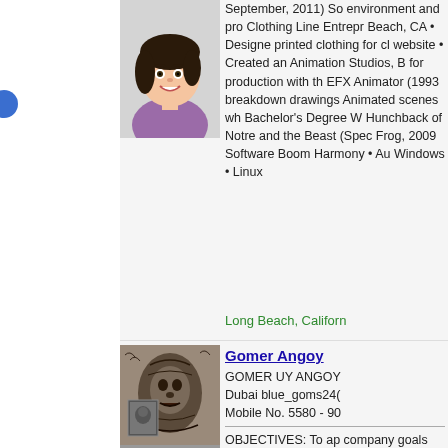[Figure (illustration): Cartoon avatar of a woman with dark hair and purple top, smiling]
September, 2011) So environment and pro Clothing Line Entrepr Beach, CA • Designe printed clothing for cl website • Created an Animation Studios, B for production with th EFX Animator (1993 breakdown drawings Animated scenes wh Bachelor's Degree W Hunchback of Notre and the Beast (Spec Frog, 2009 Software Boom Harmony • Au Windows • Linux
Long Beach, Californ
[Figure (photo): Photo of a person's arm with a detailed black and grey tattoo of a face/portrait]
Gomer Angoy
GOMER UY ANGOY Dubai blue_goms24( Mobile No. 5580 - 90
OBJECTIVES: To ap company goals and c September 2008 – J Keeper/Letter Cuttin Tender/Waiter Septe 2003 – August 2005